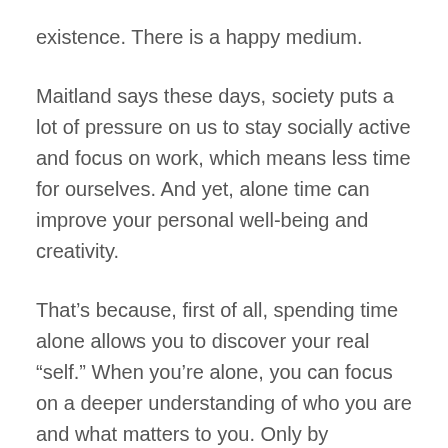existence. There is a happy medium.
Maitland says these days, society puts a lot of pressure on us to stay socially active and focus on work, which means less time for ourselves. And yet, alone time can improve your personal well-being and creativity.
That’s because, first of all, spending time alone allows you to discover your real “self.” When you’re alone, you can focus on a deeper understanding of who you are and what matters to you. Only by spending time alone, free of outside influences, can you discover these important parts of yourself. This includes unlocking your creativity. Influential authors